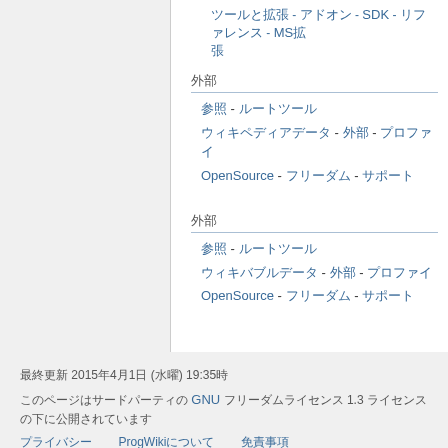ツールと拡張 - アドオン - SDK - リファレンス - MSドン
外部
外部 - リファレンス
ウィキペディア - 外部 - サポート
OpenSource - リファレンス - リファレンス
外部
参照 - ルートツール
ウィキバブルデータ - 外部 - プロファイ
OpenSource - フリーダム - サポート
最終更新 2015年4月1日 (水曜) 19:35時
このページはサードパーティの GNU Free Documentation 1.3 ライセンスの下に公開されています
プライバシー　ProgWiki について　免責事項